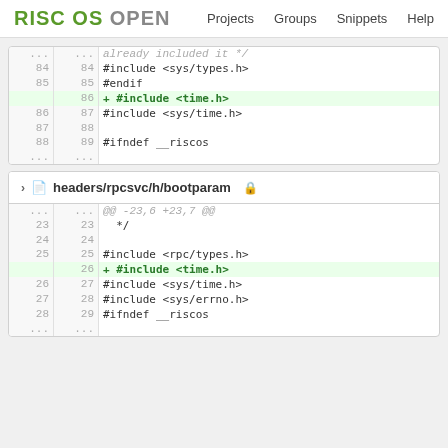RISC OS OPEN  Projects  Groups  Snippets  Help
[Figure (screenshot): Code diff view showing added #include <time.h> at line 86 in first file]
headers/rpcsvc/h/bootparam
[Figure (screenshot): Code diff view showing added #include <time.h> at line 26 in headers/rpcsvc/h/bootparam]